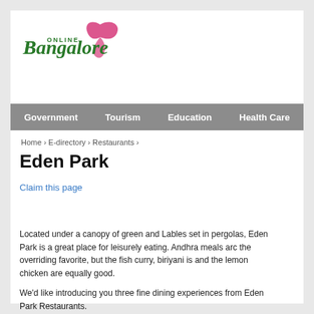[Figure (logo): Online Bangalore logo with stylized cursive text and pink butterfly/leaf graphic]
Government   Tourism   Education   Health Care
Home › E-directory › Restaurants ›
Eden Park
Claim this page
Located under a canopy of green and Lables set in pergolas, Eden Park is a great place for leisurely eating. Andhra meals arc the overriding favorite, but the fish curry, biriyani is and the lemon chicken are equally good.
We'd like introducing you three fine dining experiences from Eden Park Restaurants.